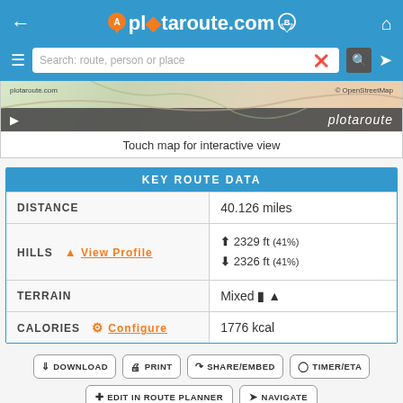plotaroute.com
[Figure (screenshot): Map preview showing a route on OpenStreetMap with plotaroute.com watermark and a dark footer bar with play button and plotaroute branding]
Touch map for interactive view
| KEY ROUTE DATA |  |
| --- | --- |
| DISTANCE | 40.126 miles |
| HILLS  View Profile | ↑ 2329 ft (41%)
↓ 2326 ft (41%) |
| TERRAIN | Mixed 🅰 🌲 |
| CALORIES  Configure | 1776 kcal |
DOWNLOAD
PRINT
SHARE/EMBED
TIMER/ETA
EDIT IN ROUTE PLANNER
NAVIGATE